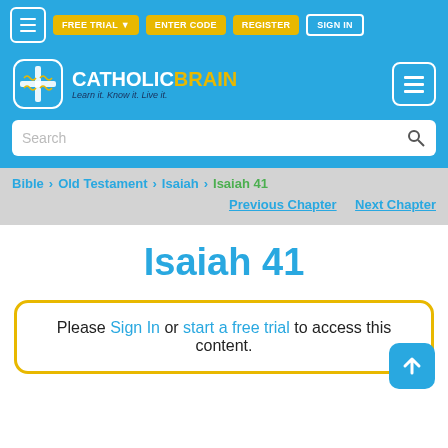FREE TRIAL | ENTER CODE | REGISTER | SIGN IN
[Figure (logo): CatholicBrain logo with brain/cross icon and tagline 'Learn it. Know it. Live it.']
Search
Bible > Old Testament > Isaiah > Isaiah 41
Previous Chapter   Next Chapter
Isaiah 41
Please Sign In or start a free trial to access this content.